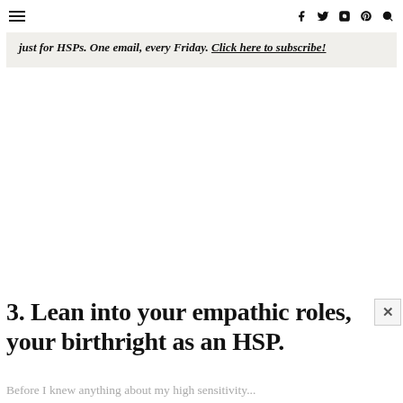≡  f  𝕏  ◎  ⊕  🔍
just for HSPs. One email, every Friday. Click here to subscribe!
3. Lean into your empathic roles, your birthright as an HSP.
Before I knew anything about my high sensitivity...